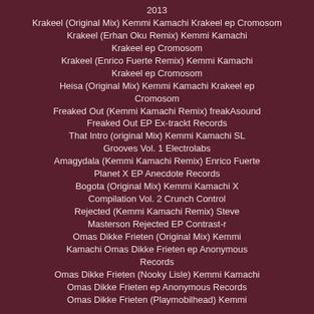2013
Krakeel (Original Mix) Kemmi Kamachi Krakeel ep Cromosom
Krakeel (Erhan Oku Remix) Kemmi Kamachi Krakeel ep Cromosom
Krakeel (Enrico Fuerte Remix) Kemmi Kamachi Krakeel ep Cromosom
Heisa (Original Mix) Kemmi Kamachi Krakeel ep Cromosom
Freaked Out (Kemmi Kamachi Remix) freakAsound Freaked Out EP Ex-trackt Records
That Intro (original Mix) Kemmi Kamachi SL Grooves Vol. 1 Electrolabs
Amagydala (Kemmi Kamachi Remix) Enrico Fuerte Planet X EP Anecdote Records
Bogota (Original Mix) Kemmi Kamachi X Compilation Vol. 2 Crunch Control
Rejected (Kemmi Kamachi Remix) Steve Masterson Rejected EP Contrast-r
Omas Dikke Frieten (Original Mix) Kemmi Kamachi Omas Dikke Frieten ep Anonymous Records
Omas Dikke Frieten (Nooky Lisle) Kemmi Kamachi Omas Dikke Frieten ep Anonymous Records
Omas Dikke Frieten (Playmobilhead) Kemmi